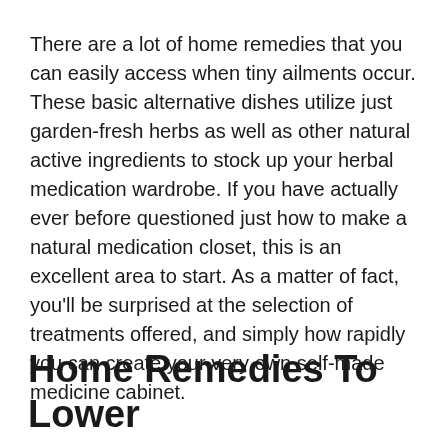There are a lot of home remedies that you can easily access when tiny ailments occur. These basic alternative dishes utilize just garden-fresh herbs as well as other natural active ingredients to stock up your herbal medication wardrobe. If you have actually ever before questioned just how to make a natural medication closet, this is an excellent area to start. As a matter of fact, you'll be surprised at the selection of treatments offered, and simply how rapidly you can create your very own self-made medicine cabinet.
Home Remedies To Lower